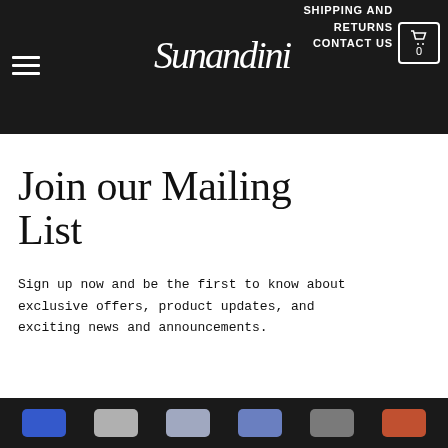Sunandini — SHIPPING AND RETURNS | CONTACT US | [hamburger menu] [cart: 0]
Join our Mailing List
Sign up now and be the first to know about exclusive offers, product updates, and exciting news and announcements.
Payment icons: Visa, Mastercard, Amex, PayPal, Apple Pay, Mastercard